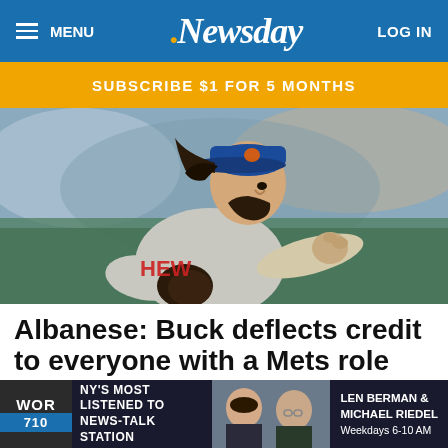MENU | Newsday | LOG IN
SUBSCRIBE $1 FOR 5 MONTHS
[Figure (photo): New York Mets pitcher in blue cap and gray uniform winding up to throw, with beard and flowing hair, photographed from close range]
Albanese: Buck deflects credit to everyone with a Mets role
10:52 pm  3m read
[Figure (other): WOR 710 radio advertisement banner: NY's Most Listened to News-Talk Station featuring Len Berman & Michael Riedel, Weekdays 6-10 AM]